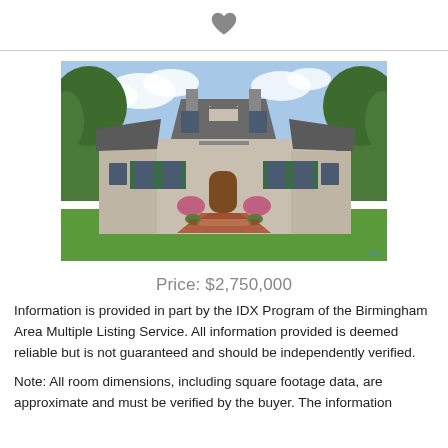[Figure (other): Heart/favorite icon (filled gray heart shape) centered at top of page]
[Figure (photo): Exterior photo of a large two-story luxury home with stone/stucco facade, multiple chimneys, green shutters, manicured lawn, brick walkway, and surrounding trees]
Price: $2,750,000
Information is provided in part by the IDX Program of the Birmingham Area Multiple Listing Service. All information provided is deemed reliable but is not guaranteed and should be independently verified.
Note: All room dimensions, including square footage data, are approximate and must be verified by the buyer. The information